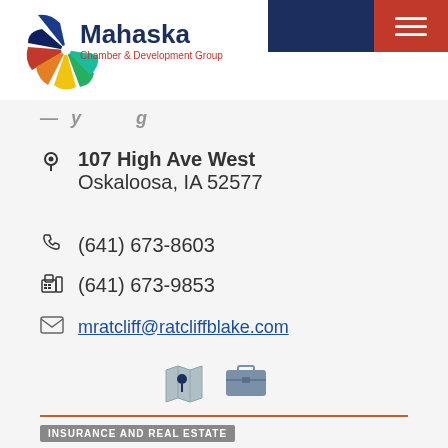[Figure (logo): Mahaska Chamber & Development Group logo with colorful pinwheel/fan graphic and blue text]
107 High Ave West
Oskaloosa, IA 52577
(641) 673-8603
(641) 673-9853
mratcliff@ratcliffblake.com
[Figure (illustration): Map and card/envelope icons]
INSURANCE AND REAL ESTATE
RE/MAX Pride Inc.